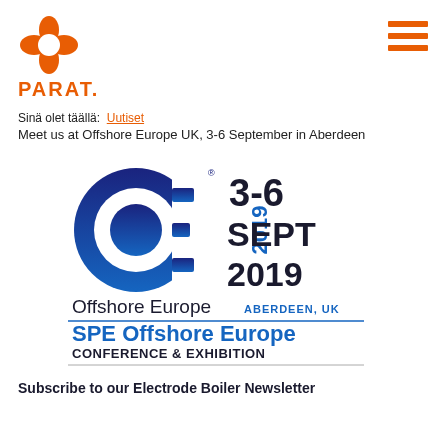[Figure (logo): PARAT company logo: orange circular icon with petal/leaf shapes, and 'PARAT.' wordmark in orange below]
[Figure (logo): Hamburger menu icon in orange (three horizontal bars)]
Sinä olet täällä:  Uutiset
Meet us at Offshore Europe UK, 3-6 September in Aberdeen
[Figure (illustration): SPE Offshore Europe Conference & Exhibition logo. Shows 'OE' stylized letters with '2019' vertical text, '3-6 SEPT 2019 ABERDEEN, UK' and 'SPE Offshore Europe CONFERENCE & EXHIBITION' text with horizontal divider lines.]
Subscribe to our Electrode Boiler Newsletter